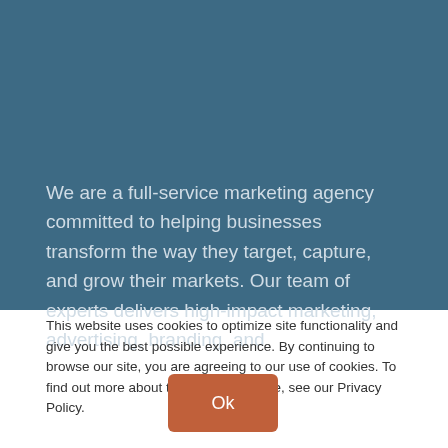We are a full-service marketing agency committed to helping businesses transform the way they target, capture, and grow their markets. Our team of experts delivers high-impact marketing, advertising, branding, and
This website uses cookies to optimize site functionality and give you the best possible experience. By continuing to browse our site, you are agreeing to our use of cookies. To find out more about the cookies we use, see our Privacy Policy.